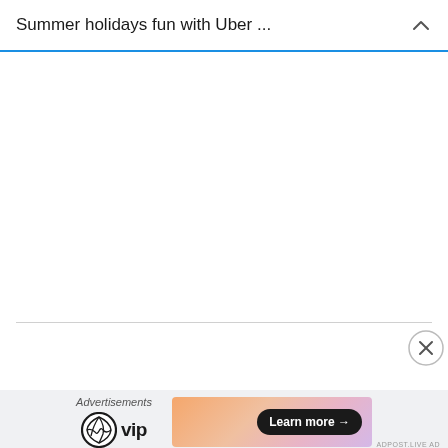Summer holidays fun with Uber ...
[Figure (screenshot): White blank content area of a webpage, with two horizontal divider lines and a close (X) circle button on the right side]
Advertisements
[Figure (logo): WordPress VIP logo: WordPress circular logo mark followed by 'vip' in bold text]
[Figure (infographic): Advertisement banner with gradient orange-pink-lavender background and a dark pill-shaped 'Learn more →' button]